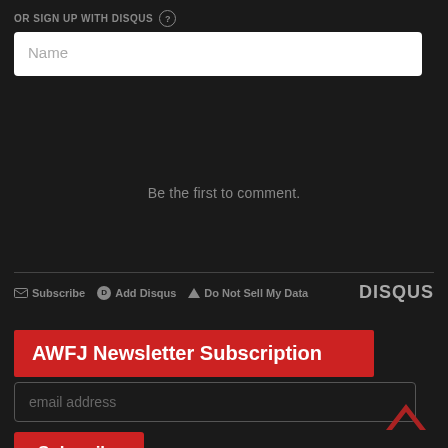OR SIGN UP WITH DISQUS ?
Name
Be the first to comment.
Subscribe  Add Disqus  Do Not Sell My Data  DISQUS
AWFJ Newsletter Subscription
email address
Subscribe